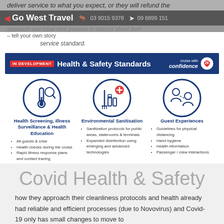deliver service to what you expect, or they will refund the
Go West Travel  03 9015 9378  09 8899 151
– tell your own story
service standard.
[Figure (infographic): IN DEVELOPMENT Health & Safety Standards - cruise with confidence banner with three icon columns: Health Screening Illness Surveillance & Health Education, Environmental Sanitisation, Guest Experiences]
Covid Health & Safety
how they approach their cleanliness protocols and health already had reliable and efficient processes (due to Novovirus) and Covid-19 only has small changes to move to